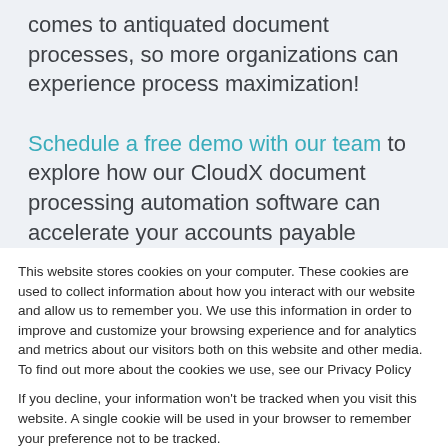comes to antiquated document processes, so more organizations can experience process maximization!
Schedule a free demo with our team to explore how our CloudX document processing automation software can accelerate your accounts payable processes and add efficiencies to your business!
This website stores cookies on your computer. These cookies are used to collect information about how you interact with our website and allow us to remember you. We use this information in order to improve and customize your browsing experience and for analytics and metrics about our visitors both on this website and other media. To find out more about the cookies we use, see our Privacy Policy
If you decline, your information won't be tracked when you visit this website. A single cookie will be used in your browser to remember your preference not to be tracked.